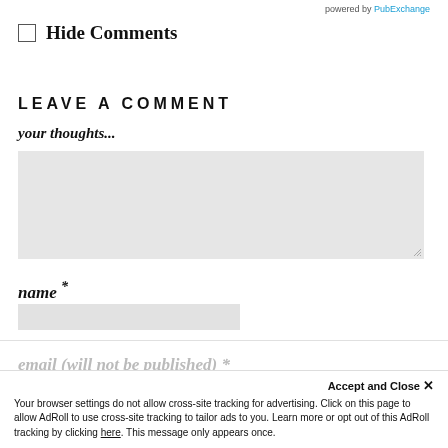powered by PubExchange
Hide Comments
LEAVE A COMMENT
your thoughts...
[Figure (other): Text area input box with gray background and resize handle]
name *
[Figure (other): Name text input field with gray background]
email (will not be published) *
Accept and Close ×
Your browser settings do not allow cross-site tracking for advertising. Click on this page to allow AdRoll to use cross-site tracking to tailor ads to you. Learn more or opt out of this AdRoll tracking by clicking here. This message only appears once.